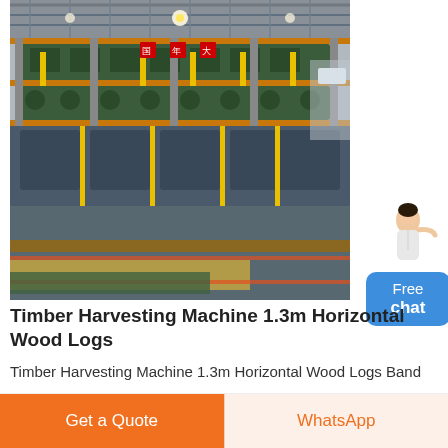[Figure (photo): Interior of a large industrial factory showing multi-level heavy machinery with metal frames, orange and yellow structural elements, conveyor systems, and industrial lighting in a warehouse setting — a timber/wood processing plant.]
Timber Harvesting Machine 1.3m Horizontal Wood Logs
Timber Harvesting Machine 1.3m Horizontal Wood Logs Band Saw Mill Machine Find Complete Details about Timber Harvesting Machine 1.3m Horizontal Wood Logs Band
Get a Quote
WhatsApp